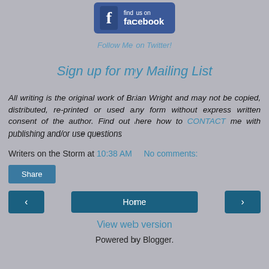[Figure (logo): Facebook 'find us on facebook' button with Facebook logo icon on blue background]
Follow Me on Twitter!
Sign up for my Mailing List
All writing is the original work of Brian Wright and may not be copied, distributed, re-printed or used any form without express written consent of the author. Find out here how to CONTACT me with publishing and/or use questions
Writers on the Storm at 10:38 AM    No comments:
Share
[Figure (screenshot): Navigation row with left arrow button, Home button center, right arrow button]
View web version
Powered by Blogger.